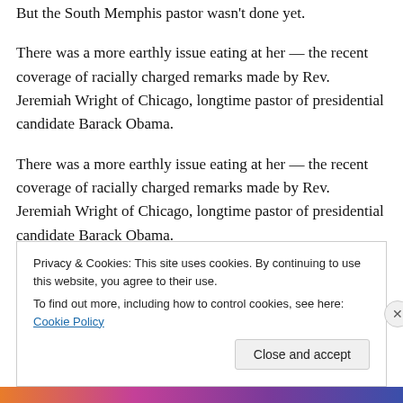But the South Memphis pastor wasn't done yet.
There was a more earthly issue eating at her — the recent coverage of racially charged remarks made by Rev. Jeremiah Wright of Chicago, longtime pastor of presidential candidate Barack Obama.
There was a more earthly issue eating at her — the recent coverage of racially charged remarks made by Rev. Jeremiah Wright of Chicago, longtime pastor of presidential candidate Barack Obama.
Privacy & Cookies: This site uses cookies. By continuing to use this website, you agree to their use.
To find out more, including how to control cookies, see here: Cookie Policy
Close and accept